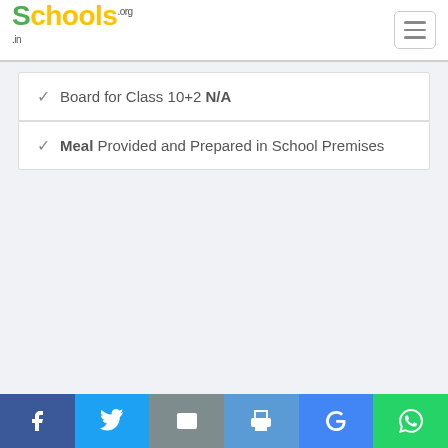Schools.org.in
Board for Class 10+2 N/A
Meal Provided and Prepared in School Premises
Facebook | Twitter | Email | Print | Google | WhatsApp